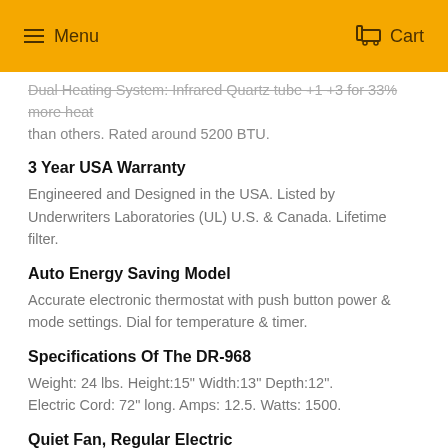Menu  Cart
Dual Heating System: Infrared Quartz tube +1 +3 for 33% more heat than others. Rated around 5200 BTU.
3 Year USA Warranty
Engineered and Designed in the USA. Listed by Underwriters Laboratories (UL) U.S. & Canada. Lifetime filter.
Auto Energy Saving Model
Accurate electronic thermostat with push button power & mode settings. Dial for temperature & timer.
Specifications Of The DR-968
Weight: 24 lbs. Height:15" Width:13" Depth:12". Electric Cord: 72" long. Amps: 12.5. Watts: 1500.
Quiet Fan, Regular Electric
Ball bearing high pressure low noise blower only 39 dB. Uses your standard 110v 3 prong outlet.